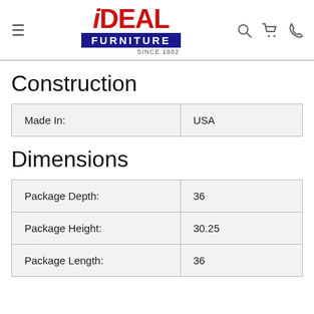[Figure (logo): iDEAL Furniture logo with hamburger menu icon on left and search, cart, phone icons on right]
Construction
| Made In: | USA |
Dimensions
| Package Depth: | 36 |
| Package Height: | 30.25 |
| Package Length: | 36 |